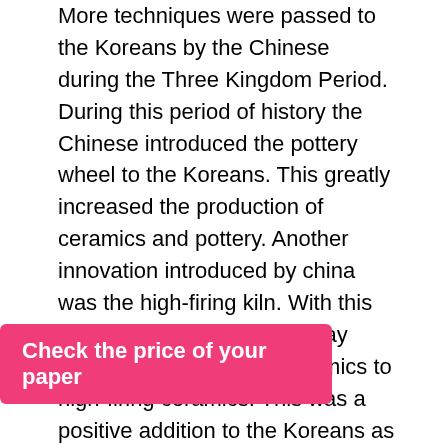More techniques were passed to the Koreans by the Chinese during the Three Kingdom Period. During this period of history the Chinese introduced the pottery wheel to the Koreans. This greatly increased the production of ceramics and pottery. Another innovation introduced by china was the high-firing kiln. With this tool the Koreans moved away from crafting low firing ceramics to high-firing ceramics. This was a positive addition to the Koreans as low firing ceramics are soft and tend to break easily. High-firing kilns allowed the Koreans to produce sturdier containers.
The Koreans in turn shared ceramic techniques with their neighbor, Japan. Japanese pottery became popular as well. The sharing of techniques between these three countries over many years has brought out new tools and techniques to make better and [...]s have been [...] ded to give the
Check the price of your paper